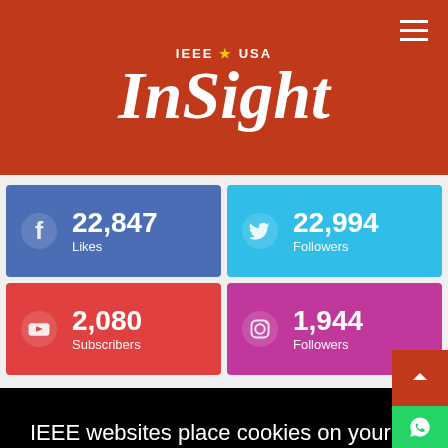[Figure (screenshot): IEEE USA InSight website screenshot showing header with red background and white InSight logo, social media follower counts (Facebook 22,847 Likes, Twitter 22,994 Followers, YouTube 2,080 Subscribers, Instagram 1,944 Followers), and a cookie consent banner overlay reading 'IEEE websites place cookies on your device to give you the best user experience. By using our websites, you agree to the placement of these cookies. To learn more, read our Privacy Policy.' with an 'Accept & Close' button.]